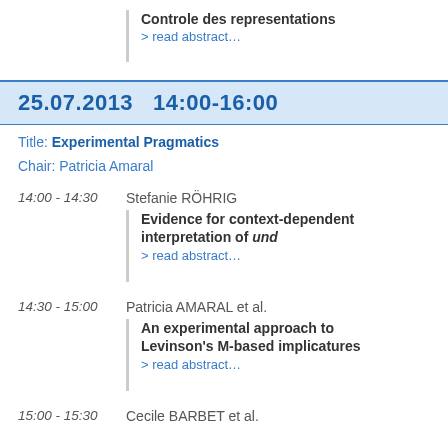Controle des representations
> read abstract…
25.07.2013   14:00-16:00
Title: Experimental Pragmatics
Chair: Patricia Amaral
14:00 - 14:30   Stefanie RÖHRIG
Evidence for context-dependent interpretation of und
> read abstract…
14:30 - 15:00   Patricia AMARAL et al.
An experimental approach to Levinson's M-based implicatures
> read abstract…
15:00 - 15:30   Cecile BARBET et al.